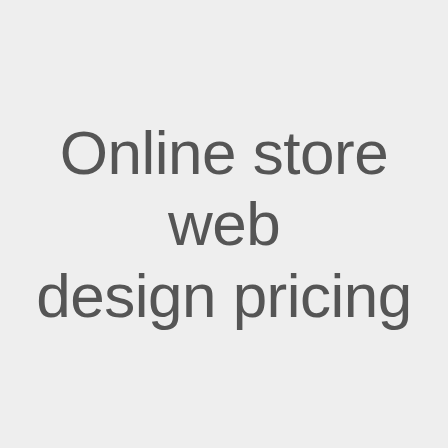Online store web design pricing